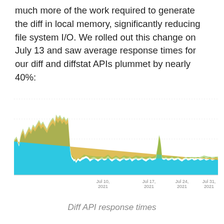much more of the work required to generate the diff in local memory, significantly reducing file system I/O. We rolled out this change on July 13 and saw average response times for our diff and diffstat APIs plummet by nearly 40%:
[Figure (continuous-plot): Area chart showing Diff API response times over time (Jul 10 2021 to Aug 2021). The chart shows a large drop in response times around Jul 13 2021, after which the values remain significantly lower. The area is filled with cyan/teal and gold/yellow colors representing multiple API metrics. A small spike appears around Jul 31 2021.]
Diff API response times